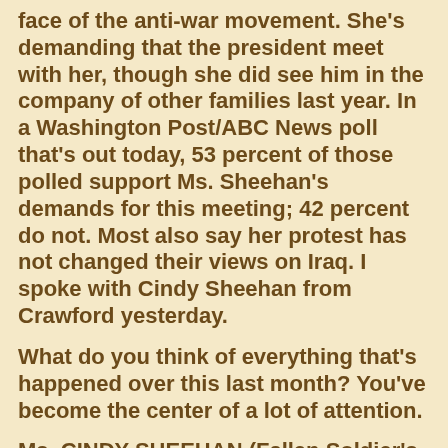face of the anti-war movement. She's demanding that the president meet with her, though she did see him in the company of other families last year. In a Washington Post/ABC News poll that's out today, 53 percent of those polled support Ms. Sheehan's demands for this meeting; 42 percent do not. Most also say her protest has not changed their views on Iraq. I spoke with Cindy Sheehan from Crawford yesterday.
What do you think of everything that's happened over this last month? You've become the center of a lot of attention.
Ms. CINDY SHEEHAN (Fallen Soldier's Mother): I think that it has really been a good thing because it's opened up a dialogue on the war, and people are putting their money where their mouth is. We've had thousands and thousands of people come from all over the world to be here at Camp Casey, and I think a peace movement has...